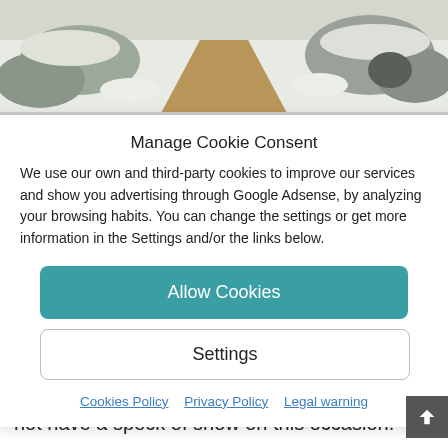[Figure (photo): A snowy trail/path with rocks and snow-covered ground, outdoor winter landscape photography.]
Manage Cookie Consent
We use our own and third-party cookies to improve our services and show you advertising through Google Adsense, by analyzing your browsing habits. You can change the settings or get more information in the Settings and/or the links below.
Allow Cookies
Settings
Cookies Policy   Privacy Policy   Legal warning
appears the Sierra de la Serrella , which does not have a speck of snow on this occasion.